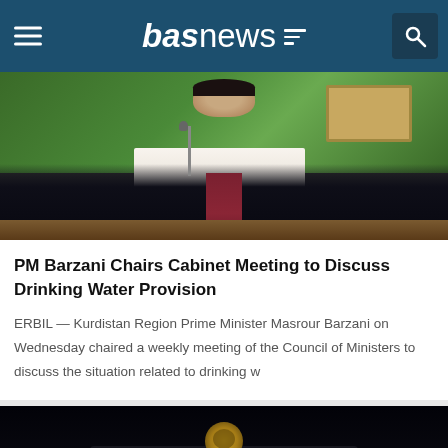basnews
[Figure (photo): Kurdistan Region Prime Minister Masrour Barzani seated at a cabinet meeting podium with a microphone, wearing a dark suit and burgundy tie, with green and white flag in background]
PM Barzani Chairs Cabinet Meeting to Discuss Drinking Water Provision
ERBIL — Kurdistan Region Prime Minister Masrour Barzani on Wednesday chaired a weekly meeting of the Council of Ministers to discuss the situation related to drinking w
[Figure (photo): Night-time photo showing a military or armored vehicle with a yellow emblem/logo visible against a dark background with distant city lights]